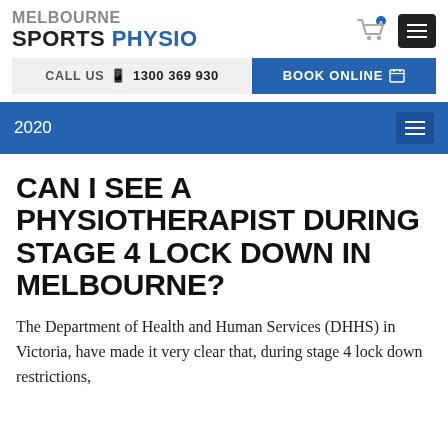MELBOURNE SPORTS PHYSIO
CALL US  1300 369 930   BOOK ONLINE
2020
CAN I SEE A PHYSIOTHERAPIST DURING STAGE 4 LOCK DOWN IN MELBOURNE?
The Department of Health and Human Services (DHHS) in Victoria, have made it very clear that,  during stage 4 lock down restrictions,